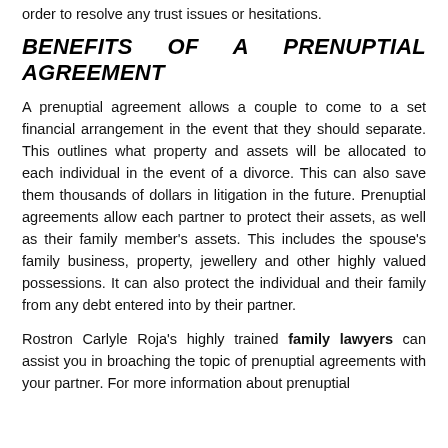order to resolve any trust issues or hesitations.
BENEFITS OF A PRENUPTIAL AGREEMENT
A prenuptial agreement allows a couple to come to a set financial arrangement in the event that they should separate. This outlines what property and assets will be allocated to each individual in the event of a divorce. This can also save them thousands of dollars in litigation in the future. Prenuptial agreements allow each partner to protect their assets, as well as their family member's assets. This includes the spouse's family business, property, jewellery and other highly valued possessions. It can also protect the individual and their family from any debt entered into by their partner.
Rostron Carlyle Roja's highly trained family lawyers can assist you in broaching the topic of prenuptial agreements with your partner. For more information about prenuptial